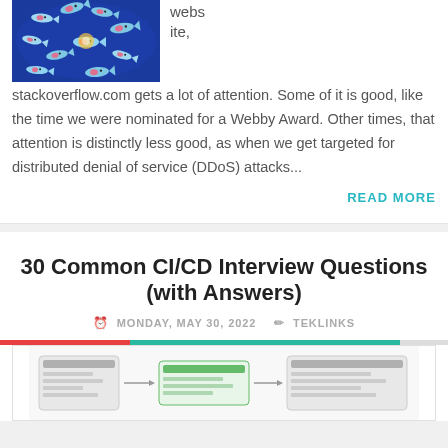[Figure (photo): Fish swimming in a blue underwater scene with colorful fish, top-left of the first card]
website, stackoverflow.com gets a lot of attention. Some of it is good, like the time we were nominated for a Webby Award. Other times, that attention is distinctly less good, as when we get targeted for distributed denial of service (DDoS) attacks...
READ MORE
30 Common CI/CD Interview Questions (with Answers)
MONDAY, MAY 30, 2022   TEKLINKS
[Figure (screenshot): Screenshot of a CI/CD pipeline diagram interface]